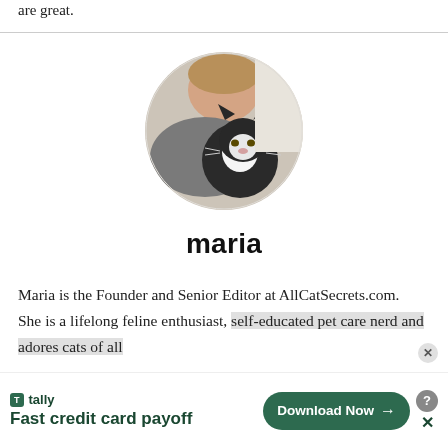are great.
[Figure (photo): Circular profile photo of a woman holding a black and white cat close to her face]
maria
Maria is the Founder and Senior Editor at AllCatSecrets.com. She is a lifelong feline enthusiast, self-educated pet care nerd and adores cats of all
[Figure (infographic): Tally advertisement banner: 'Fast credit card payoff' with Download Now button]